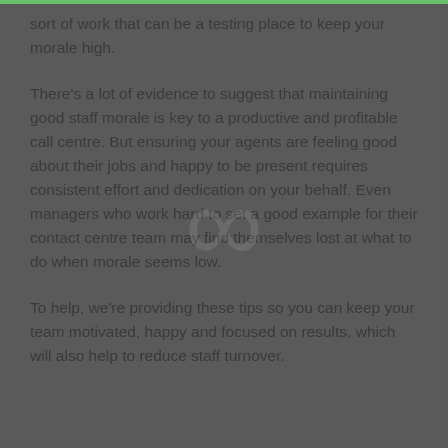sort of work that can be a testing place to keep your morale high.
There's a lot of evidence to suggest that maintaining good staff morale is key to a productive and profitable call centre. But ensuring your agents are feeling good about their jobs and happy to be present requires consistent effort and dedication on your behalf. Even managers who work hard to set a good example for their contact centre team may find themselves lost at what to do when morale seems low.
To help, we're providing these tips so you can keep your team motivated, happy and focused on results, which will also help to reduce staff turnover.